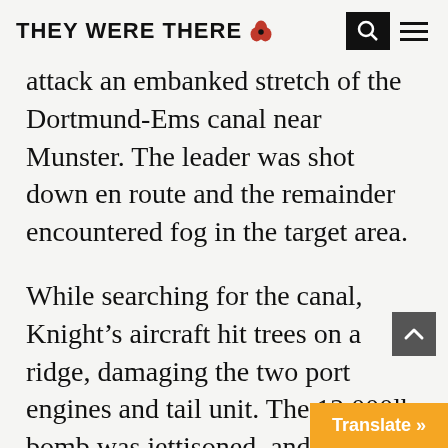THEY WERE THERE
attack an embanked stretch of the Dortmund-Ems canal near Munster. The leader was shot down en route and the remainder encountered fog in the target area.
While searching for the canal, Knight’s aircraft hit trees on a ridge, damaging the two port engines and tail unit. The 12,000lb bomb was jettisoned, and Knight and Grayston managed to coax the aircraft to 1,400ft to allow to bail out.